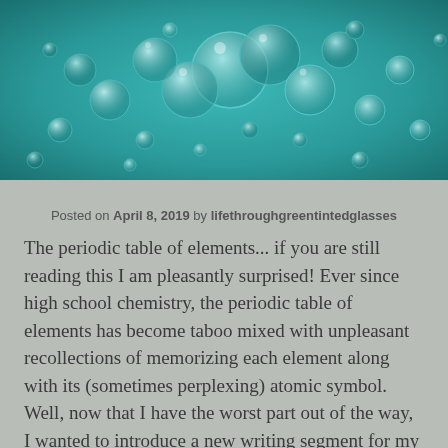[Figure (photo): Close-up underwater photo of teal/turquoise bubbles floating in water]
Posted on April 8, 2019 by lifethroughgreentintedglasses
The periodic table of elements... if you are still reading this I am pleasantly surprised! Ever since high school chemistry, the periodic table of elements has become taboo mixed with unpleasant recollections of memorizing each element along with its (sometimes perplexing) atomic symbol. Well, now that I have the worst part out of the way, I wanted to introduce a new writing segment for my blog: Periodic Players. Don't worry, you won't need to